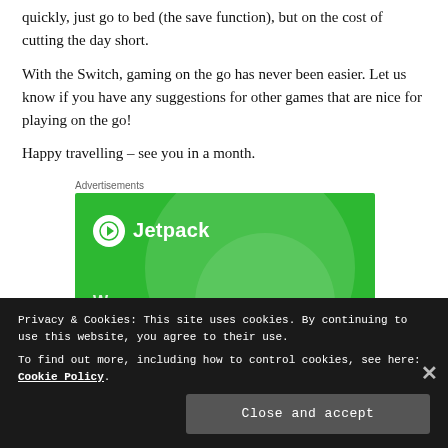quickly, just go to bed (the save function), but on the cost of cutting the day short.
With the Switch, gaming on the go has never been easier. Let us know if you have any suggestions for other games that are nice for playing on the go!
Happy travelling – see you in a month.
Advertisements
[Figure (other): Jetpack advertisement banner on green background with circular design elements and Jetpack logo]
Privacy & Cookies: This site uses cookies. By continuing to use this website, you agree to their use.
To find out more, including how to control cookies, see here: Cookie Policy
Close and accept